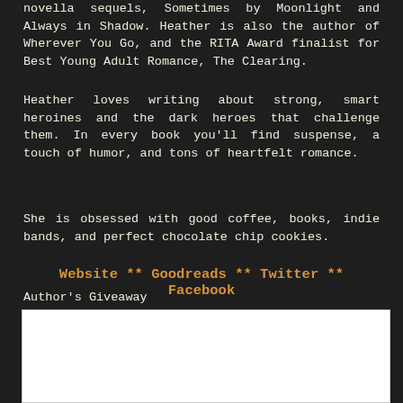novella sequels, Sometimes by Moonlight and Always in Shadow. Heather is also the author of Wherever You Go, and the RITA Award finalist for Best Young Adult Romance, The Clearing.
Heather loves writing about strong, smart heroines and the dark heroes that challenge them. In every book you'll find suspense, a touch of humor, and tons of heartfelt romance.
She is obsessed with good coffee, books, indie bands, and perfect chocolate chip cookies.
Website ** Goodreads ** Twitter ** Facebook
Author's Giveaway
[Figure (other): White rectangular box representing an embedded giveaway widget or form area]